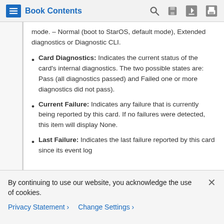Book Contents
mode. – Normal (boot to StarOS, default mode), Extended diagnostics or Diagnostic CLI.
Card Diagnostics: Indicates the current status of the card's internal diagnostics. The two possible states are: Pass (all diagnostics passed) and Failed one or more diagnostics did not pass).
Current Failure: Indicates any failure that is currently being reported by this card. If no failures were detected, this item will display None.
Last Failure: Indicates the last failure reported by this card since its event log
By continuing to use our website, you acknowledge the use of cookies.
Privacy Statement › Change Settings ›